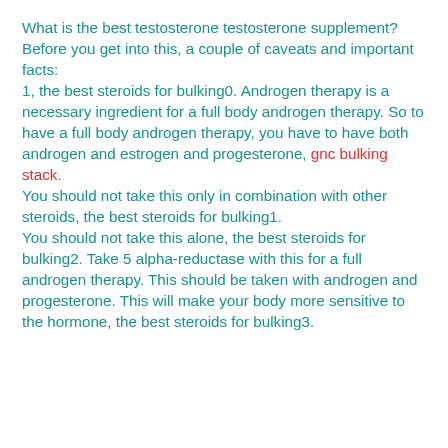What is the best testosterone testosterone supplement? Before you get into this, a couple of caveats and important facts:
1, the best steroids for bulking0. Androgen therapy is a necessary ingredient for a full body androgen therapy. So to have a full body androgen therapy, you have to have both androgen and estrogen and progesterone, gnc bulking stack.
You should not take this only in combination with other steroids, the best steroids for bulking1.
You should not take this alone, the best steroids for bulking2. Take 5 alpha-reductase with this for a full androgen therapy. This should be taken with androgen and progesterone. This will make your body more sensitive to the hormone, the best steroids for bulking3.